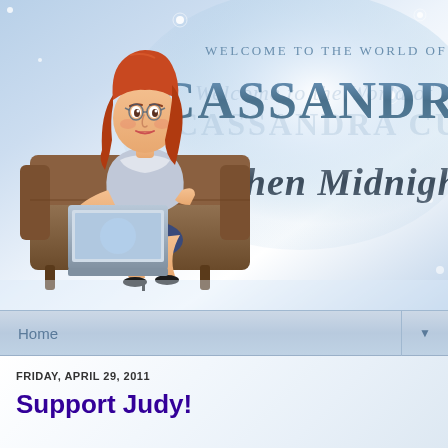[Figure (illustration): Website banner header for Cassandra Curtis blog. Features a light blue gradient background with globe/orb decoration and sparkles. An illustrated cartoon character of a red-headed woman in a silver top and blue skirt sitting on a brown couch with a laptop. Text reads 'Welcome to the World of CASSANDRA CURTIS' and 'When Midnight Comes' in script font.]
WELCOME TO THE WORLD OF CASSANDRA CURTIS - When Midnight Comes
Home ▼
FRIDAY, APRIL 29, 2011
Support Judy!